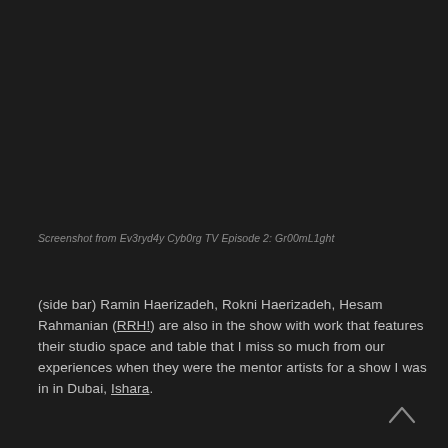Screenshot from Ev3ryd4y Cyb0rg TV Episode 2: Gr00mL1ght
(side bar) Ramin Haerizadeh, Rokni Haerizadeh, Hesam Rahmanian (RRH!) are also in the show with work that features their studio space and table that I miss so much from our experiences when they were the mentor artists for a show I was in in Dubai, Ishara.